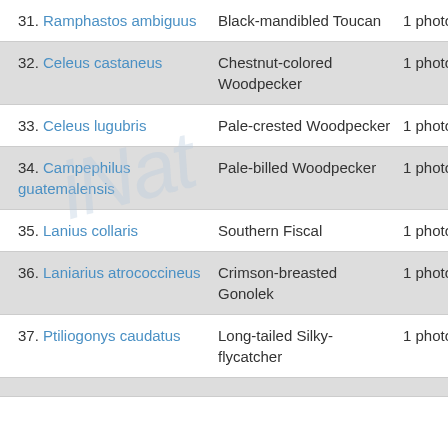31. Ramphastos ambiguus | Black-mandibled Toucan | 1 photo
32. Celeus castaneus | Chestnut-colored Woodpecker | 1 photo
33. Celeus lugubris | Pale-crested Woodpecker | 1 photo
34. Campephilus guatemalensis | Pale-billed Woodpecker | 1 photo
35. Lanius collaris | Southern Fiscal | 1 photo
36. Laniarius atrococcineus | Crimson-breasted Gonolek | 1 photo
37. Ptiliogonys caudatus | Long-tailed Silky-flycatcher | 1 photo